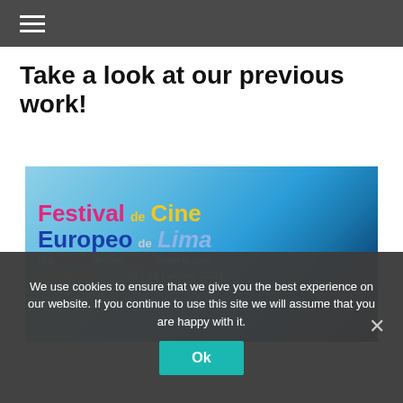≡ (hamburger menu)
Take a look at our previous work!
[Figure (photo): Festival de Cine Europeo de Lima promotional banner - 33rd Edition, June 22-30 2021, with blue blurred background]
We use cookies to ensure that we give you the best experience on our website. If you continue to use this site we will assume that you are happy with it.